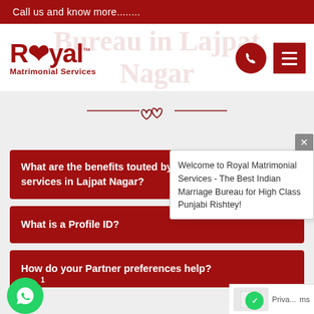Call us and know more........
[Figure (logo): Royal Matrimonial Services logo with stylized heart in letter O, red color, with watermark text 'Bureau in Lajpat Nagar' in background]
[Figure (infographic): Decorative horizontal divider with two linked hearts SVG icon in dark red]
What are the benefits touted by the matrimonial services in Lajpat Nagar?
What is a Profile ID?
How do your Partner preferences help?
Welcome to Royal Matrimonial Services - The Best Indian Marriage Bureau for High Class Punjabi Rishtey!